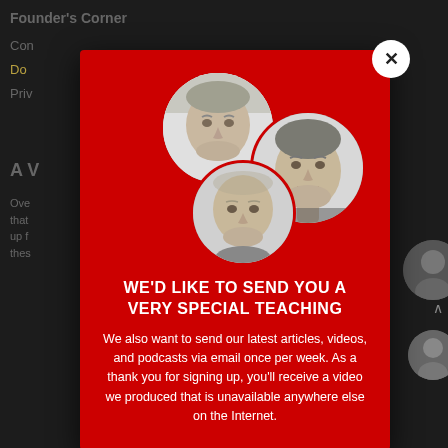Founder's Corner
[Figure (photo): Modal popup on dark website background showing three circular grayscale portrait photos of men on a red background]
WE'D LIKE TO SEND YOU A VERY SPECIAL TEACHING
We also want to send our latest articles, videos, and podcasts via email once per week. As a thank you for signing up, you'll receive a video we produced that is unavailable anywhere else on the Internet.